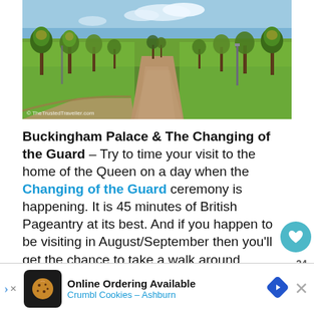[Figure (photo): A wide park path with green lawns and trees on both sides, leading into the distance under a blue sky. Path forks in foreground.]
© TheTrustedTraveller.com
Buckingham Palace & The Changing of the Guard – Try to time your visit to the home of the Queen on a day when the Changing of the Guard ceremony is happening. It is 45 minutes of British Pageantry at its best. And if you happen to be visiting in August/September then you'll get the chance to take a walk around inside a portion of the palace, something that is...
[Figure (infographic): Online ad banner: Online Ordering Available / Crumbl Cookies – Ashburn, with cookie icon, navigation arrow icon, and close button]